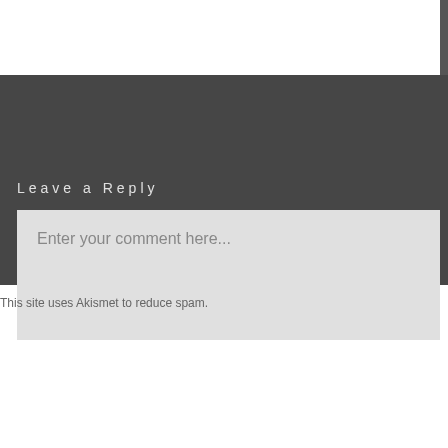Leave a Reply
Enter your comment here...
This site uses Akismet to reduce spam.